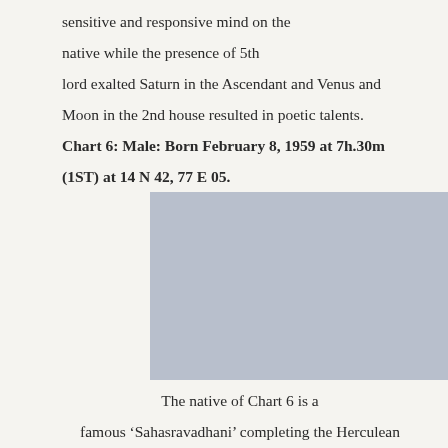sensitive and responsive mind on the native while the presence of 5th lord exalted Saturn in the Ascendant and Venus and Moon in the 2nd house resulted in poetic talents. Chart 6: Male: Born February 8, 1959 at 7h.30m (1ST) at 14 N 42, 77 E 05.
[Figure (other): Astrological chart placeholder image with light blue-grey background]
The native of Chart 6 is a famous ‘Sahasravadhani’ completing the Herculean task of “Maha Dvi-Sahasravadhanam” successfully.